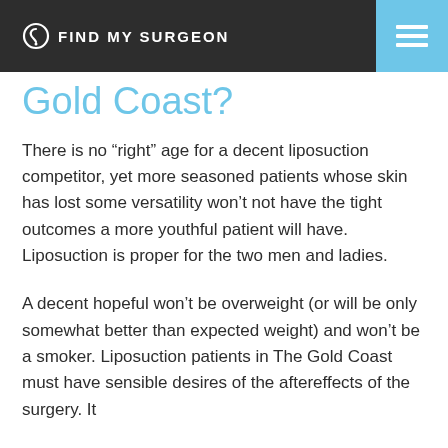FIND MY SURGEON
Gold Coast?
There is no “right” age for a decent liposuction competitor, yet more seasoned patients whose skin has lost some versatility won’t not have the tight outcomes a more youthful patient will have. Liposuction is proper for the two men and ladies.
A decent hopeful won’t be overweight (or will be only somewhat better than expected weight) and won’t be a smoker. Liposuction patients in The Gold Coast must have sensible desires of the aftereffects of the surgery. It